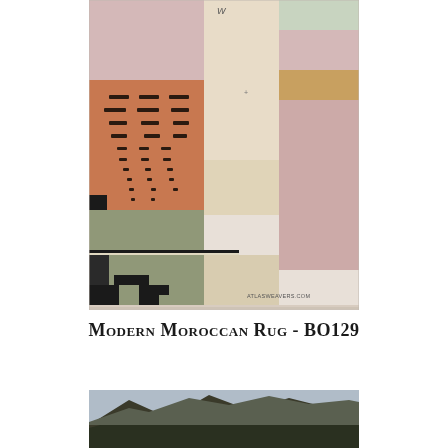[Figure (photo): Modern Moroccan rug with geometric color block design featuring muted pink, beige/cream, sage green, terracotta/orange with black dash motifs, and dark navy/black geometric shapes in the lower left. The rug has a contemporary abstract design with horizontal bands. ATLASWEAVERS.COM watermark visible in lower right.]
Modern Moroccan Rug - BO129
[Figure (photo): Partial landscape photo showing mountains and trees at the bottom of the page, cropped.]